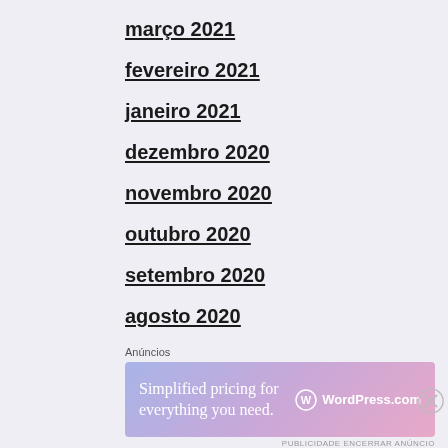março 2021
fevereiro 2021
janeiro 2021
dezembro 2020
novembro 2020
outubro 2020
setembro 2020
agosto 2020
Anúncios
[Figure (infographic): WordPress.com advertisement banner: 'Simplified pricing for everything you need.' with WordPress.com logo on gradient background]